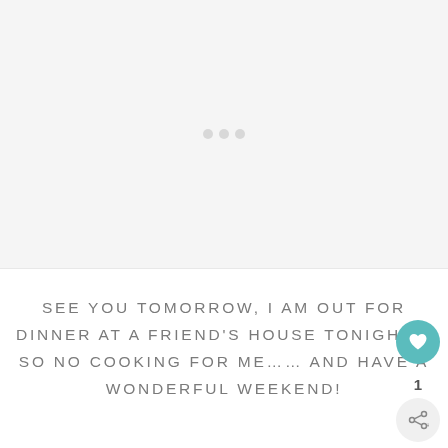[Figure (photo): Light gray placeholder image area, nearly blank with faint dots in the center]
SEE YOU TOMORROW, I AM OUT FOR DINNER AT A FRIEND'S HOUSE TONIGHT ~ SO NO COOKING FOR ME…… AND HAVE A WONDERFUL WEEKEND!